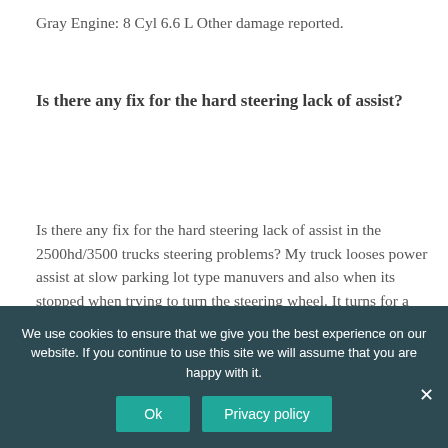Gray Engine: 8 Cyl 6.6 L Other damage reported.
Is there any fix for the hard steering lack of assist?
Is there any fix for the hard steering lack of assist in the 2500hd/3500 trucks steering problems? My truck looses power assist at slow parking lot type manuvers and also when its stopped when trying to turn the steering wheel. It turns for a little bit then gets real hard to turn and the pump growls and hisses likes its low on fluid.
We use cookies to ensure that we give you the best experience on our website. If you continue to use this site we will assume that you are happy with it.